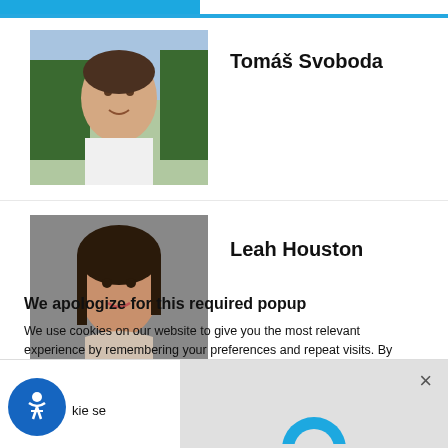[Figure (screenshot): Blue header navigation bar at the top of the page]
Tomáš Svoboda
[Figure (photo): Headshot photo of Tomáš Svoboda, a young man outdoors]
Leah Houston
[Figure (photo): Headshot photo of Leah Houston, a woman with dark hair]
We apologize for this required popup
We use cookies on our website to give you the most relevant experience by remembering your preferences and repeat visits. By clicking “Accept”, you consent to the use of all the cookies.
Do not sell my personal information.
[Figure (screenshot): Bottom bar with accessibility icon, partial cookie settings text, and close button]